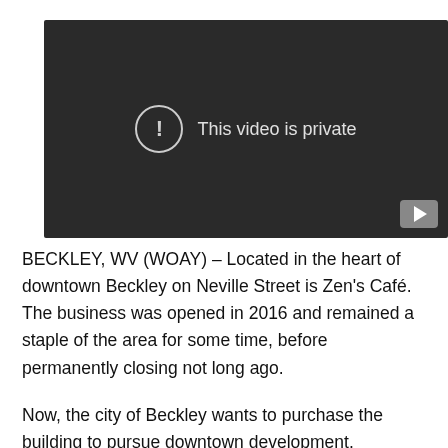[Figure (screenshot): Embedded video player with dark background showing 'This video is private' message with exclamation mark icon and a YouTube play button in the bottom right corner.]
BECKLEY, WV (WOAY) – Located in the heart of downtown Beckley on Neville Street is Zen's Café. The business was opened in 2016 and remained a staple of the area for some time, before permanently closing not long ago.
Now, the city of Beckley wants to purchase the building to pursue downtown development.